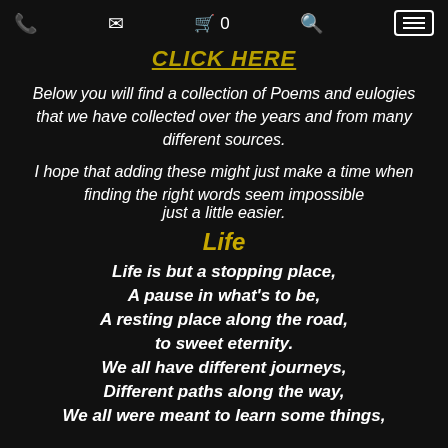Phone | Mail | Cart 0 | Search | Menu
CLICK HERE
Below you will find a collection of Poems and eulogies that we have collected over the years and from many different sources.
I hope that adding these might just make a time when
finding the right words seem impossible
just a little easier.
Life
Life is but a stopping place,
A pause in what's to be,
A resting place along the road,
to sweet eternity.
We all have different journeys,
Different paths along the way,
We all were meant to learn some things,